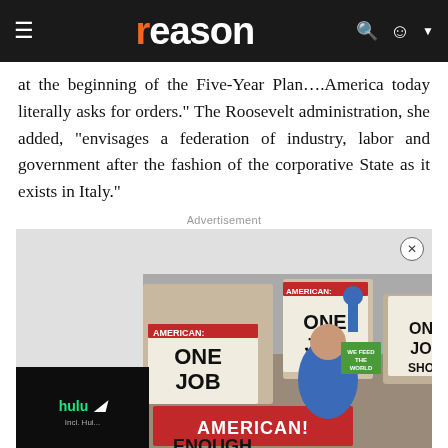reason
at the beginning of the Five-Year Plan....America today literally asks for orders." The Roosevelt administration, she added, "envisages a federation of industry, labor and government after the fashion of the corporative State as it exists in Italy."
Advertisement
[Figure (photo): Advertisement area containing a protest photo showing people holding 'ONE JOB' and 'AMERICAN!' signs, with a woman in a blue jacket raising her fist. Also shows a Hulu/Disney+ ad overlay in the bottom left.]